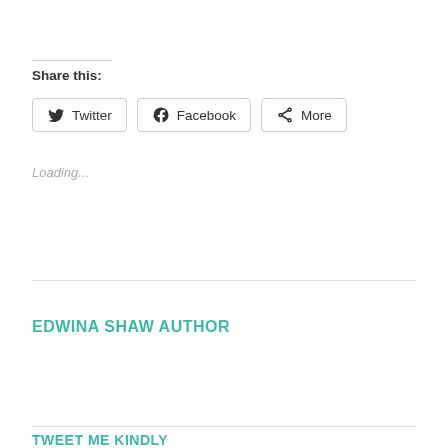Share this:
[Figure (other): Social sharing buttons: Twitter, Facebook, More]
Loading...
EDWINA SHAW AUTHOR
TWEET ME KINDLY